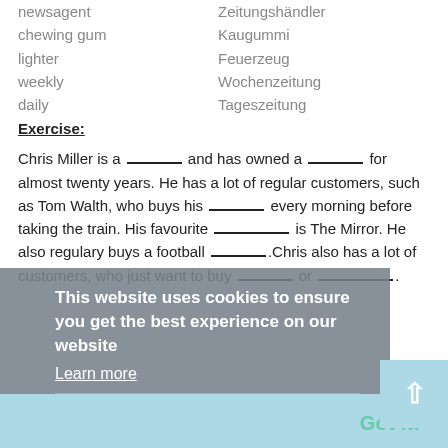newsagent — Zeitungshändler
chewing gum — Kaugummi
lighter — Feuerzeug
weekly — Wochenzeitung
daily — Tageszeitung
Exercise:
Chris Miller is a ________ and has owned a ________ for almost twenty years. He has a lot of regular customers, such as Tom Walth, who buys his ________ every morning before taking the train. His favourite __________ is The Mirror. He also regulary buys a football ________.Chris also has a lot of customers, who just want to buy ________ or _________.
This website uses cookies to ensure you get the best experience on our website
Learn more
Got it!
answers:
Chris Miller is a newsagent and has owned a newspaper kiosk